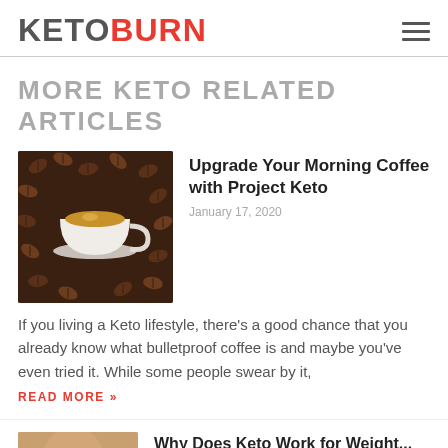KETOBURN
MORE KETO RELATED ARTICLES
[Figure (photo): Top-down photo of a white coffee cup filled with espresso surrounded by dark roasted coffee beans on a dark background]
Upgrade Your Morning Coffee with Project Keto
January 17, 2020
If you living a Keto lifestyle, there’s a good chance that you already know what bulletproof coffee is and maybe you’ve even tried it. While some people swear by it,
READ MORE »
[Figure (photo): Partial thumbnail photo visible at the bottom of the page, warm skin tones suggesting a person]
Why Does Keto Work for Weight...